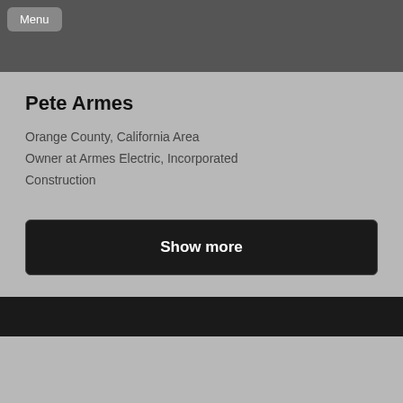[Figure (screenshot): Top banner image area, dark gray, partially visible profile photo]
Menu
Pete Armes
Orange County, California Area
Owner at Armes Electric, Incorporated
Construction
Show more
[Figure (screenshot): Bottom section, dark divider and another gray card area]